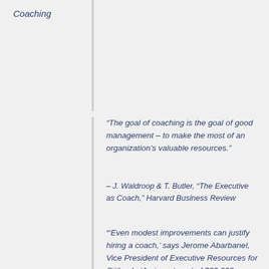Coaching
“The goal of coaching is the goal of good management – to make the most of an organization’s valuable resources.”
– J. Waldroop & T. Butler, “The Executive as Coach,” Harvard Business Review
“‘Even modest improvements can justify hiring a coach,’ says Jerome Abarbanel, Vice President of Executive Resources for Citibank: ‘An investment of $30,000 or so